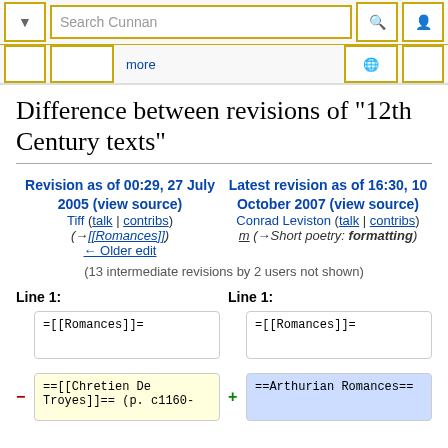Search Cunnan | more
Difference between revisions of "12th Century texts"
Revision as of 00:29, 27 July 2005 (view source)
Tiff (talk | contribs)
(→[[Romances]])
← Older edit
Latest revision as of 16:30, 10 October 2007 (view source)
Conrad Leviston (talk | contribs)
m (→Short poetry: formatting)
(13 intermediate revisions by 2 users not shown)
Line 1:
Line 1:
=[[Romances]]=
=[[Romances]]=
==Arthurian Romances==
==[[Chretien De Troyes]]== (p. c1160-